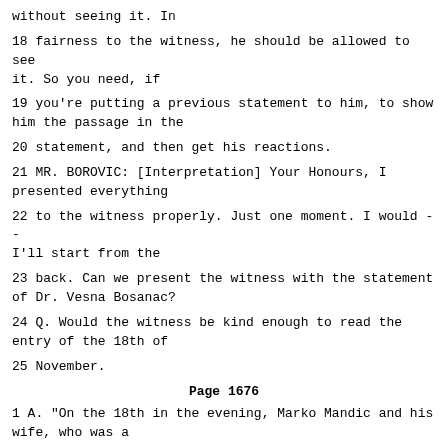without seeing it. In
18 fairness to the witness, he should be allowed to see it. So you need, if
19 you're putting a previous statement to him, to show him the passage in the
20 statement, and then get his reactions.
21 MR. BOROVIC: [Interpretation] Your Honours, I presented everything
22 to the witness properly. Just one moment. I would -- I'll start from the
23 back. Can we present the witness with the statement of Dr. Vesna Bosanac?
24 Q. Would the witness be kind enough to read the entry of the 18th of
25 November.
Page 1676
1 A. "On the 18th in the evening, Marko Mandic and his wife, who was a
2 nurse in the medical centre" --
3 THE INTERPRETER: The interpreters do not have the